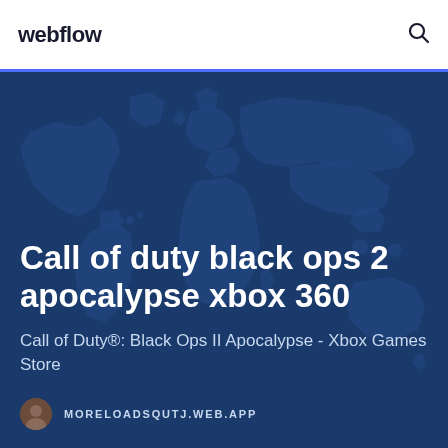webflow
[Figure (screenshot): Hero section with world map background in dark blue, containing large title text, subtitle text, and author URL attribution]
Call of duty black ops 2 apocalypse xbox 360
Call of Duty®: Black Ops II Apocalypse - Xbox Games Store
MORELOADSQUTJ.WEB.APP